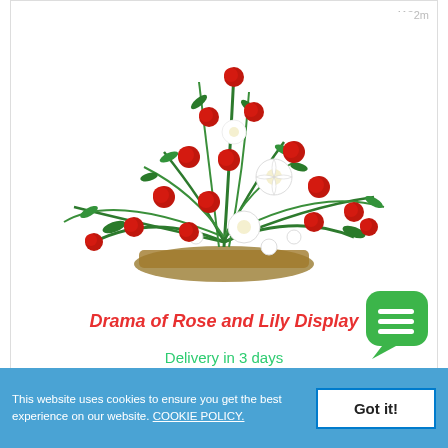4132m
[Figure (photo): A dramatic floral arrangement in a basket featuring red roses and white lilies with lush green foliage, arranged in a tall triangular display.]
Drama of Rose and Lily Display
Delivery in 3 days
[Figure (illustration): Green speech bubble chat button icon with three horizontal white lines]
This website uses cookies to ensure you get the best experience on our website. COOKIE POLICY.
Got it!